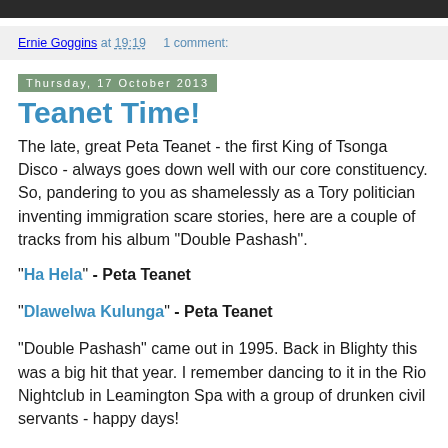Ernie Goggins at 19:19    1 comment:
Thursday, 17 October 2013
Teanet Time!
The late, great Peta Teanet - the first King of Tsonga Disco - always goes down well with our core constituency. So, pandering to you as shamelessly as a Tory politician inventing immigration scare stories, here are a couple of tracks from his album "Double Pashash".
"Ha Hela" - Peta Teanet
"Dlawelwa Kulunga" - Peta Teanet
"Double Pashash" came out in 1995. Back in Blighty this was a big hit that year. I remember dancing to it in the Rio Nightclub in Leamington Spa with a group of drunken civil servants - happy days!